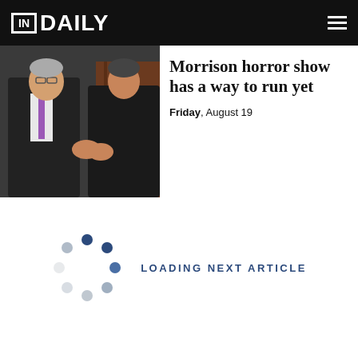IN DAILY
[Figure (photo): Two men in dark suits shaking hands, one wearing a purple tie, in a formal indoor setting]
Morrison horror show has a way to run yet
Friday, August 19
[Figure (infographic): Circular loading spinner animation indicator with blue and grey dots]
LOADING NEXT ARTICLE